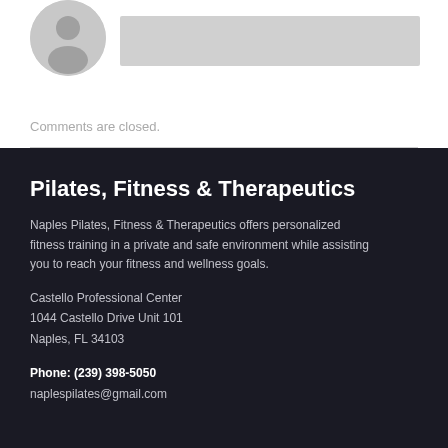[Figure (illustration): Circular avatar placeholder with grey color and grey bar placeholder beside it]
Comments are closed.
Pilates, Fitness & Therapeutics
Naples Pilates, Fitness & Therapeutics offers personalized fitness training in a private and safe environment while assisting you to reach your fitness and wellness goals.
Castello Professional Center
1044 Castello Drive Unit 101
Naples, FL 34103
Phone: (239) 398-5050
naplespilates@gmail.com